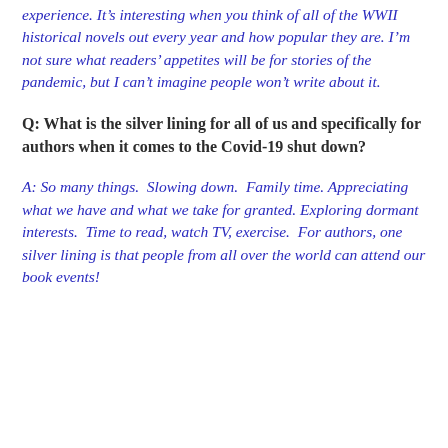experience. It's interesting when you think of all of the WWII historical novels out every year and how popular they are. I'm not sure what readers' appetites will be for stories of the pandemic, but I can't imagine people won't write about it.
Q: What is the silver lining for all of us and specifically for authors when it comes to the Covid-19 shut down?
A: So many things. Slowing down. Family time. Appreciating what we have and what we take for granted. Exploring dormant interests. Time to read, watch TV, exercise. For authors, one silver lining is that people from all over the world can attend our book events!